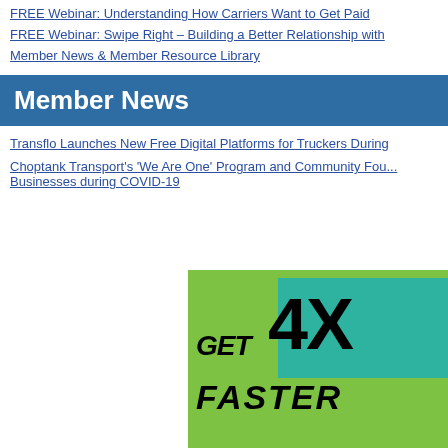FREE Webinar: Understanding How Carriers Want to Get Paid
FREE Webinar: Swipe Right – Building a Better Relationship with
Member News & Member Resource Library
Member News
Transflo Launches New Free Digital Platforms for Truckers During
Choptank Transport's 'We Are One' Program and Community Foundation Help Local Businesses during COVID-19
[Figure (infographic): Green and teal advertisement banner with bold black text reading 'GET 4X FASTER R...' (partially visible). Background is lime green with teal accent block.]